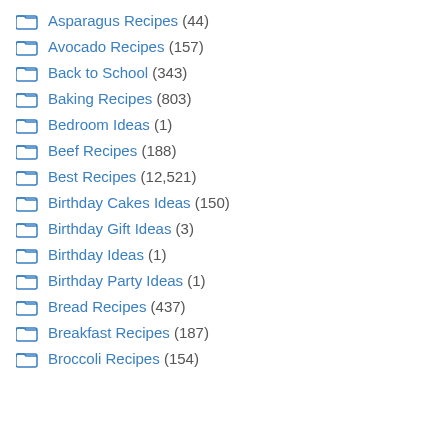Asparagus Recipes (44)
Avocado Recipes (157)
Back to School (343)
Baking Recipes (803)
Bedroom Ideas (1)
Beef Recipes (188)
Best Recipes (12,521)
Birthday Cakes Ideas (150)
Birthday Gift Ideas (3)
Birthday Ideas (1)
Birthday Party Ideas (1)
Bread Recipes (437)
Breakfast Recipes (187)
Broccoli Recipes (154)